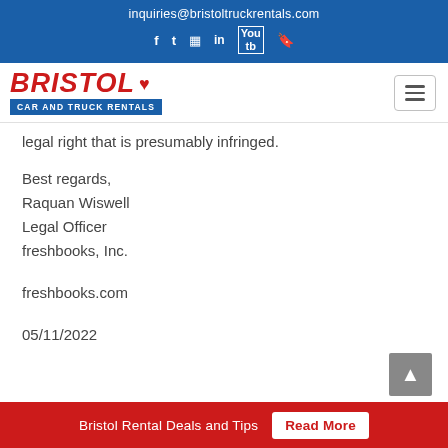inquiries@bristoltruckrentals.com
[Figure (logo): Bristol Car and Truck Rentals logo with red italic BRISTOL text and maple leaf, blue subtitle bar]
legal right that is presumably infringed.
Best regards,
Raquan Wiswell
Legal Officer
freshbooks, Inc.

freshbooks.com

05/11/2022
Bristol Rental Deals and Tips  Read More